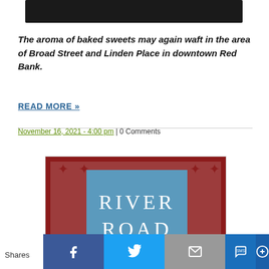[Figure (photo): Dark/black rectangular image at the top of the page, partially cropped]
The aroma of baked sweets may again waft in the area of Broad Street and Linden Place in downtown Red Bank.
READ MORE »
November 16, 2021 - 4:00 pm | 0 Comments
[Figure (logo): River Road logo with decorative dark red/maroon patterned border and a blue center box with white serif text reading RIVER ROAD]
Shares